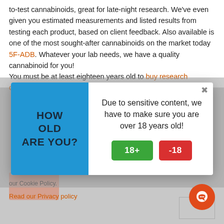to-test cannabinoids, great for late-night research. We've even given you estimated measurements and listed results from testing each product, based on client feedback. Also available is one of the most sought-after cannabinoids on the market today 5F-ADB. Whatever your lab needs, we have a quality cannabinoid for you!
You must be at least eighteen years old to buy research chemicals w...
[Figure (screenshot): Age verification modal popup with blue left panel showing 'HOW OLD ARE YOU?' and white right panel with message 'Due to sensitive content, we have to make sure you are over 18 years old!' with green '18+' and red '-18' buttons]
our Cookie Policy.
Read our Privacy policy